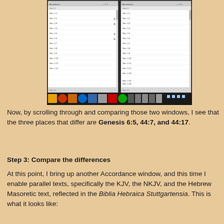[Figure (screenshot): Side-by-side screenshot of two Accordance Bible software windows, each showing a list of Genesis chapter and verse references (Gen. 1:1, Gen. 1:2, Gen. 1:3, etc.) with a Windows taskbar visible at the bottom.]
Now, by scrolling through and comparing those two windows, I see that the three places that differ are Genesis 6:5, 44:7, and 44:17.
Step 3: Compare the differences
At this point, I bring up another Accordance window, and this time I enable parallel texts, specifically the KJV, the NKJV, and the Hebrew Masoretic text, reflected in the Biblia Hebraica Stuttgartensia. This is what it looks like: